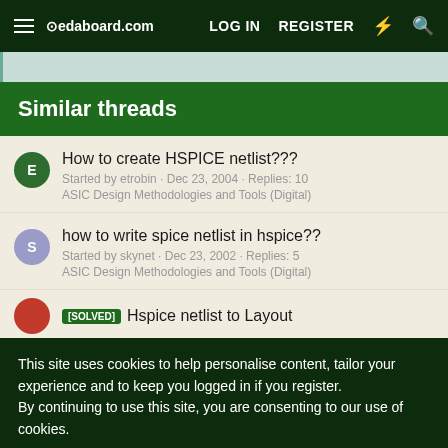edaboard.com  LOG IN  REGISTER
Similar threads
How to create HSPICE netlist??? Started by etrobin · Dec 23, 2004 · Replies: 10 ASIC Design Methodologies and Tools (Digital)
how to write spice netlist in hspice?? Started by skynet · Dec 23, 2002 · Replies: 5 ASIC Design Methodologies and Tools (Digital)
[SOLVED] Hspice netlist to Layout
This site uses cookies to help personalise content, tailor your experience and to keep you logged in if you register.
By continuing to use this site, you are consenting to our use of cookies.
✓ Accept    Learn more...